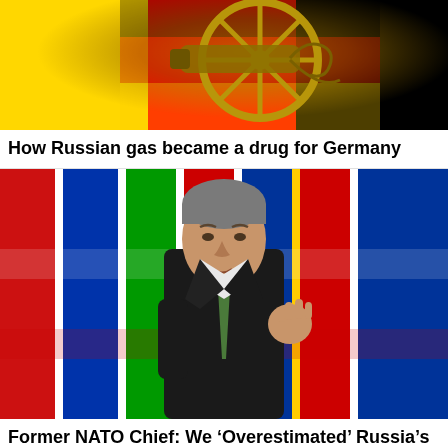[Figure (photo): German flag colors (black, red, gold) background with an antique gold cannon/wheel symbol representing Russian gas dependency]
How Russian gas became a drug for Germany
[Figure (photo): Former NATO Secretary General Anders Fogh Rasmussen in a dark suit with green tie, gesturing with his hand, standing in front of colorful NATO member flags]
Former NATO Chief: We ‘Overestimated’ Russia’s Military
[Figure (photo): Partial image of several men in suits, appears to be political/diplomatic meeting, cropped at bottom of page]